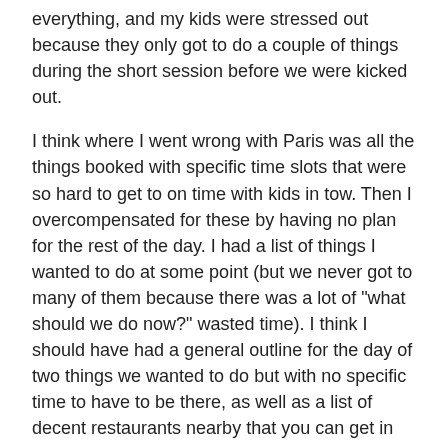everything, and my kids were stressed out because they only got to do a couple of things during the short session before we were kicked out.
I think where I went wrong with Paris was all the things booked with specific time slots that were so hard to get to on time with kids in tow. Then I overcompensated for these by having no plan for the rest of the day. I had a list of things I wanted to do at some point (but we never got to many of them because there was a lot of "what should we do now?" wasted time). I think I should have had a general outline for the day of two things we wanted to do but with no specific time to have to be there, as well as a list of decent restaurants nearby that you can get in without reservations.
I'm not sure how helpful all this will be to anyone else since we saw so few kids at the Christmas markets -- but we did have an amazing trip and are glad we took the kids with us. I think the only big thing we would have done differently would have been cutting Paris in order to shorten the overall trip length down to